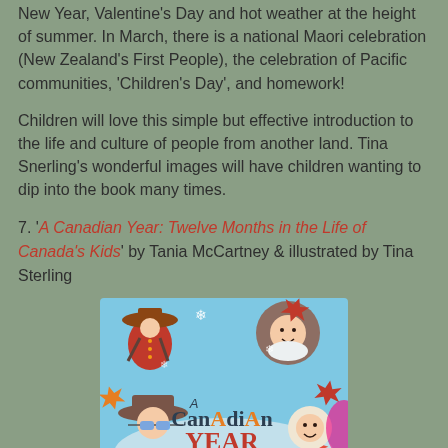New Year, Valentine's Day and hot weather at the height of summer. In March, there is a national Maori celebration (New Zealand's First People), the celebration of Pacific communities, 'Children's Day', and homework!
Children will love this simple but effective introduction to the life and culture of people from another land. Tina Snerling's wonderful images will have children wanting to dip into the book many times.
7. 'A Canadian Year: Twelve Months in the Life of Canada's Kids' by Tania McCartney & illustrated by Tina Sterling
[Figure (illustration): Book cover of 'A Canadian Year: Twelve Months in the Life of Canada's Kids' showing illustrated children in Canadian winter gear on a light blue background with maple leaves and snowflakes. The title 'A Canadian Year' is displayed prominently with subtitle 'Twelve Months in the Life of Canada's Kids'.]